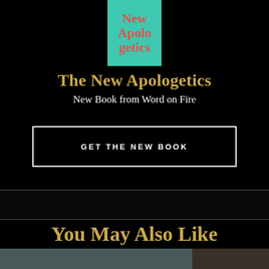[Figure (illustration): Book cover for 'The New Apologetics' with teal/turquoise background and red serif lettering]
The New Apologetics
New Book from Word on Fire
GET THE NEW BOOK
You May Also Like
[Figure (photo): Partial photo thumbnails at the bottom of the page showing two images side by side]